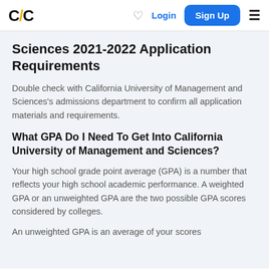C/C | Login | Sign Up
Sciences 2021-2022 Application Requirements
Double check with California University of Management and Sciences's admissions department to confirm all application materials and requirements.
What GPA Do I Need To Get Into California University of Management and Sciences?
Your high school grade point average (GPA) is a number that reflects your high school academic performance. A weighted GPA or an unweighted GPA are the two possible GPA scores considered by colleges.
An unweighted GPA is an average of your scores